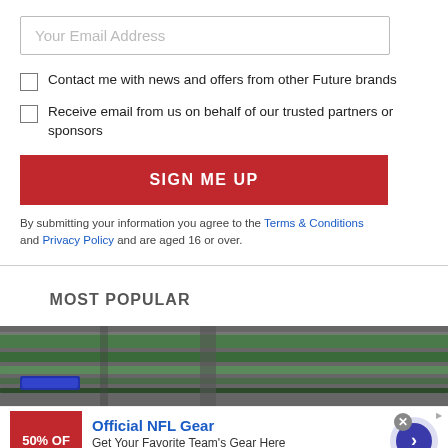Your Email Address
Contact me with news and offers from other Future brands
Receive email from us on behalf of our trusted partners or sponsors
SIGN ME UP
By submitting your information you agree to the Terms & Conditions and Privacy Policy and are aged 16 or over.
MOST POPULAR
MOST SHARED
[Figure (photo): Circuit board / computer hardware close-up photo]
[Figure (infographic): Advertisement: Official NFL Gear - Get Your Favorite Team's Gear Here - www.nflshop.com. Shows 50% OFF badge in red, arrow navigation button, and close button.]